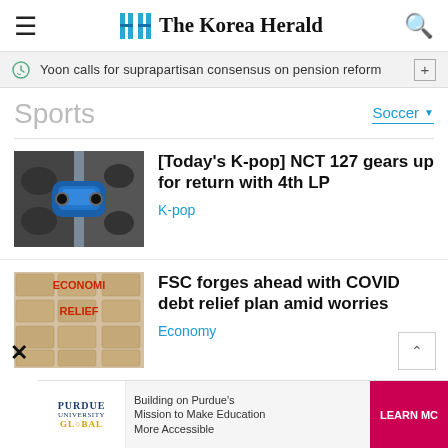The Korea Herald
Yoon calls for suprapartisan consensus on pension reform
Sports
Soccer
[Today's K-pop] NCT 127 gears up for return with 4th LP
K-pop
FSC forges ahead with COVID debt relief plan amid worries
Economy
[Figure (photo): Blue car aerial view with mechanical parts background]
[Figure (photo): Wooden blocks spelling ECONOMIC RELIEF in red letters]
Building on Purdue's Mission to Make Education More Accessible